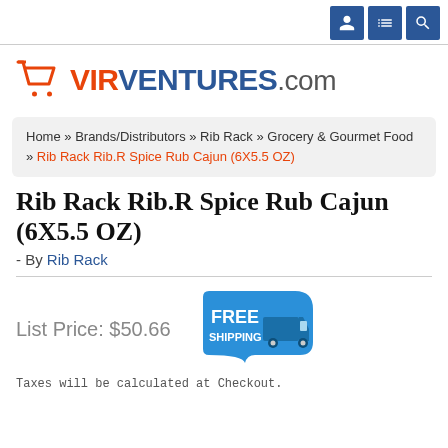VIRVENTURES.com
Home » Brands/Distributors » Rib Rack » Grocery & Gourmet Food » Rib Rack Rib.R Spice Rub Cajun (6X5.5 OZ)
Rib Rack Rib.R Spice Rub Cajun (6X5.5 OZ)
- By Rib Rack
List Price: $50.66
[Figure (infographic): Free Shipping badge — blue truck graphic with 'FREE SHIPPING' text]
Taxes will be calculated at Checkout.